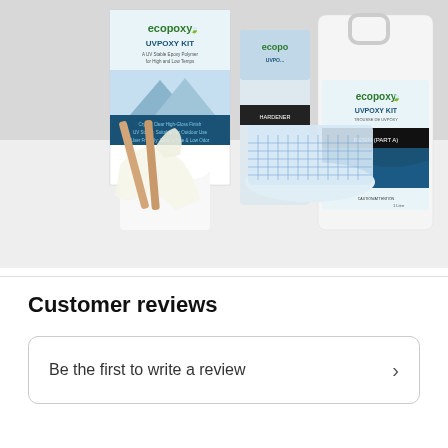[Figure (photo): Product photo of EcoPoxy UVPoxy Kit showing two white bottles/containers with blue and black labels, a measuring cup with blue grid markings, latex gloves, wooden stir sticks, and a small white mixing cup arranged on a white surface.]
Customer reviews
Be the first to write a review